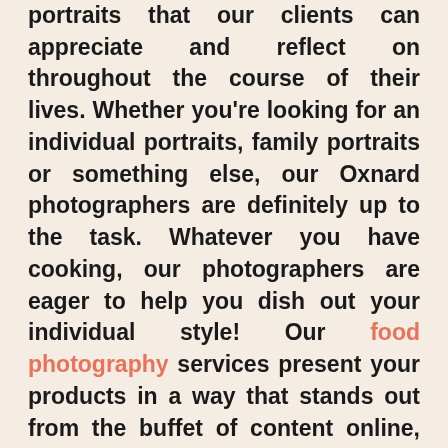portraits that our clients can appreciate and reflect on throughout the course of their lives. Whether you're looking for an individual portraits, family portraits or something else, our Oxnard photographers are definitely up to the task. Whatever you have cooking, our photographers are eager to help you dish out your individual style! Our food photography services present your products in a way that stands out from the buffet of content online, all while staying true to your brand. Modern architecture is more than just brick and mortar. Need more proof? Our architecture photography services help capture every beautiful angle of your building, whether for personal or professional use. This is